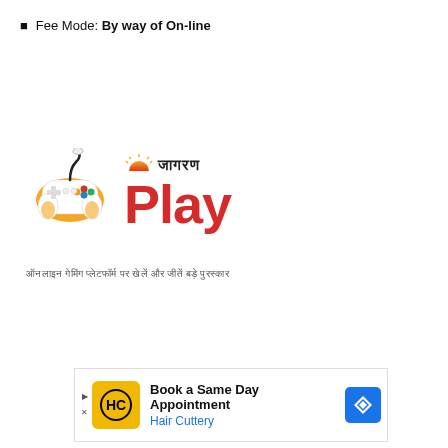Fee Mode: By way of On-line
[Figure (logo): Jagran Play logo with game controller graphic, sunrise icon, Hindi text जागरण, and red Play wordmark]
ऑनलाइन गेमिंग प्लेटफॉर्म पर खेलें और जीतें बड़े पुरस्कार
[Figure (screenshot): Advertisement banner: Book a Same Day Appointment - Hair Cuttery, with yellow HC logo and blue navigation arrow icon]